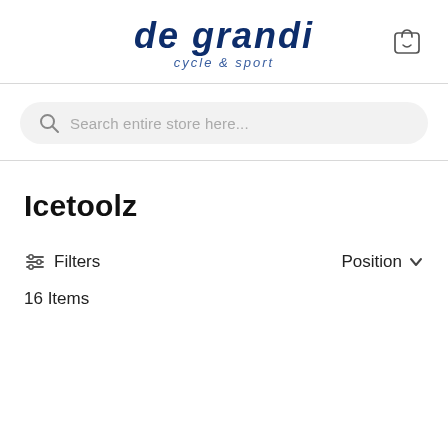[Figure (logo): De Grandi cycle & sport logo in dark blue italic bold text]
Search entire store here...
Icetoolz
Filters
Position
16 Items